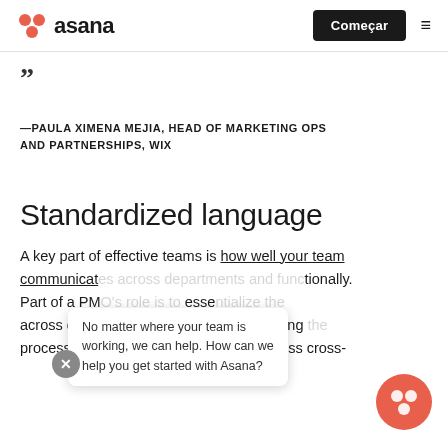Asana — Começar
"
—PAULA XIMENA MEJIA, HEAD OF MARKETING OPS AND PARTNERSHIPS, WIX
Standardized language
A key part of effective teams is how well your team communicat[es across departments and func]tionally. Part of a PM[O's role is to] esse[ntialize the] across differe[nt departments by establishi]ng [the] processes in order to enable more effortless cross-
No matter where your team is working, we can help. How can we help you get started with Asana?